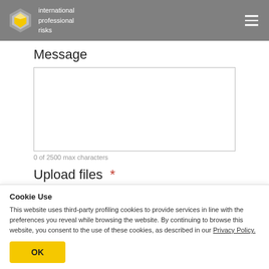[Figure (logo): International Professional Risks logo with hexagon icon and hamburger menu on grey header bar]
Message
[Figure (screenshot): Empty message text area input box]
0 of 2500 max characters
Upload files *
[Figure (screenshot): File upload dashed border drop zone area]
Cookie Use
This website uses third-party profiling cookies to provide services in line with the preferences you reveal while browsing the website. By continuing to browse this website, you consent to the use of these cookies, as described in our Privacy Policy.
OK